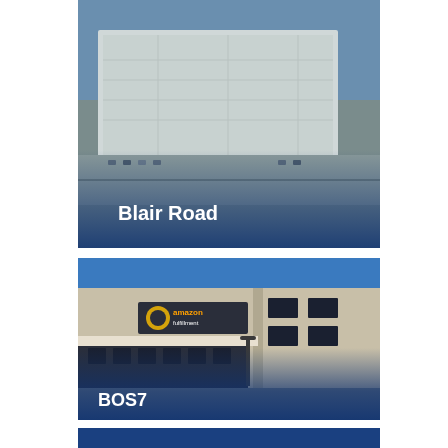[Figure (photo): Aerial view of a large warehouse/distribution center facility - Blair Road property]
Blair Road
[Figure (photo): Street-level view of Amazon Fulfillment center building with signage - BOS7 property]
BOS7
[Figure (photo): Partial view of another property card with dark blue overlay at the bottom of the page]